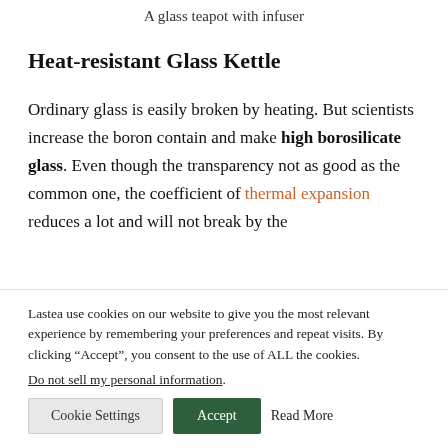A glass teapot with infuser
Heat-resistant Glass Kettle
Ordinary glass is easily broken by heating. But scientists increase the boron contain and make high borosilicate glass. Even though the transparency not as good as the common one, the coefficient of thermal expansion reduces a lot and will not break by the
Lastea use cookies on our website to give you the most relevant experience by remembering your preferences and repeat visits. By clicking “Accept”, you consent to the use of ALL the cookies.
Do not sell my personal information.